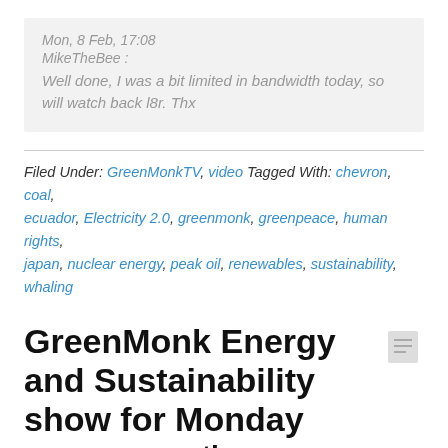Mon, 8 Feb, 17:08
MikeTheBee :
Well done, I was a bit limited in bandwidth today, so will watch back l8r. Thx
Filed Under: GreenMonkTV, video Tagged With: chevron, coal, ecuador, Electricity 2.0, greenmonk, greenpeace, human rights, japan, nuclear energy, peak oil, renewables, sustainability, whaling
GreenMonk Energy and Sustainability show for Monday January 25th
January 25, 2010 by Tom Raftery